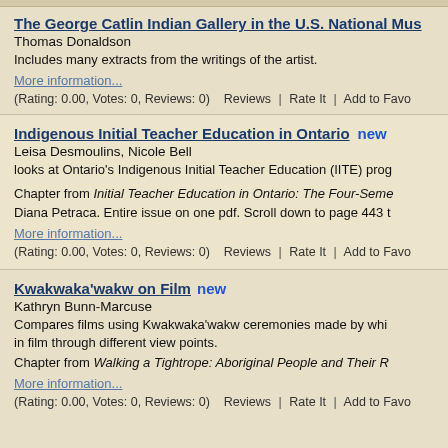The George Catlin Indian Gallery in the U.S. National Museum
Thomas Donaldson
Includes many extracts from the writings of the artist.
More information...
(Rating: 0.00, Votes: 0, Reviews: 0)   Reviews | Rate It | Add to Favo
Indigenous Initial Teacher Education in Ontario [new]
Leisa Desmoulins, Nicole Bell
looks at Ontario's Indigenous Initial Teacher Education (IITE) prog
Chapter from Initial Teacher Education in Ontario: The Four-Seme... Diana Petraca. Entire issue on one pdf. Scroll down to page 443 t
More information...
(Rating: 0.00, Votes: 0, Reviews: 0)   Reviews | Rate It | Add to Favo
Kwakwaka'wakw on Film [new]
Kathryn Bunn-Marcuse
Compares films using Kwakwaka'wakw ceremonies made by whi... in film through different view points.
Chapter from Walking a Tightrope: Aboriginal People and Their R...
More information...
(Rating: 0.00, Votes: 0, Reviews: 0)   Reviews | Rate It | Add to Favo